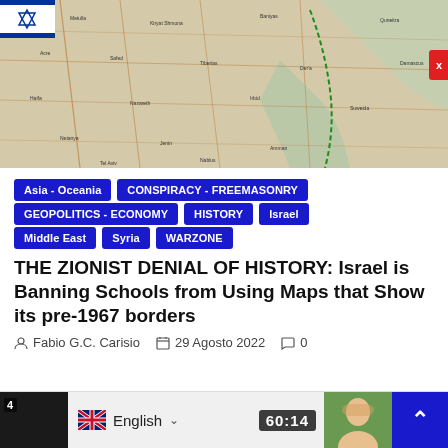[Figure (map): Geographic map showing the Middle East / Levant region with place names, roads, and borders. An Israeli flag is partially visible in the top-left corner.]
Asia - Oceania
CONSPIRACY - FREEMASONRY
GEOPOLITICS - ECONOMY
HISTORY
Israel
Middle East
Syria
WARZONE
THE ZIONIST DENIAL OF HISTORY: Israel is Banning Schools from Using Maps that Show its pre-1967 borders
Fabio G.C. Carisio   29 Agosto 2022   0
[Figure (screenshot): Bottom bar with English language selector (UK flag), a video thumbnail showing '60:14' timestamp, a person photo, and a blue scroll-to-top button.]